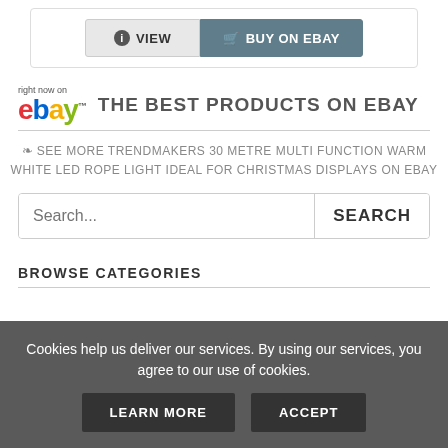[Figure (screenshot): Two buttons: VIEW (light gray with info icon) and BUY ON EBAY (slate blue with cart icon)]
[Figure (logo): eBay logo with 'right now on' above it, colored letters e(red), b(blue), a(yellow), y(green)]
THE BEST PRODUCTS ON EBAY
SEE MORE TRENDMAKERS 30 METRE MULTI FUNCTION WARM WHITE LED ROPE LIGHT IDEAL FOR CHRISTMAS DISPLAYS ON EBAY
Search...
SEARCH
BROWSE CATEGORIES
Cookies help us deliver our services. By using our services, you agree to our use of cookies.
LEARN MORE
ACCEPT